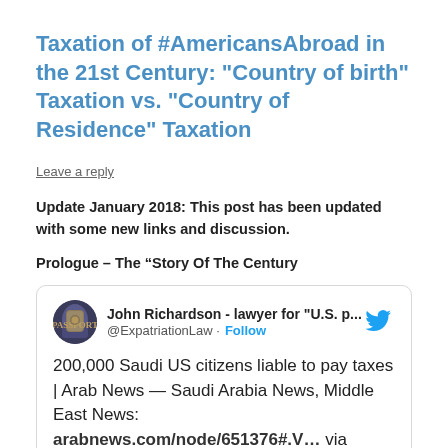Taxation of #AmericansAbroad in the 21st Century: "Country of birth" Taxation vs. "Country of Residence" Taxation
Leave a reply
Update January 2018: This post has been updated with some new links and discussion.
Prologue – The “Story Of The Century
[Figure (screenshot): Embedded tweet from John Richardson - lawyer for "U.S. p..." (@ExpatriationLaw) with Follow button and Twitter bird logo. Tweet text: 200,000 Saudi US citizens liable to pay taxes | Arab News — Saudi Arabia News, Middle East News: arabnews.com/node/651376#.V... via]